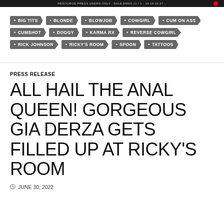RESOURCE PRESS USERS ONLY - SALE ENDS 11 / 1 - 19 19 19 27...
BIG TITS • BLONDE • BLOWJOB • COWGIRL • CUM ON ASS • CUMSHOT • DOGGY • KARMA RX • REVERSE COWGIRL • RICK JOHNSON • RICKY'S ROOM • SPOON • TATTOOS
PRESS RELEASE
ALL HAIL THE ANAL QUEEN! GORGEOUS GIA DERZA GETS FILLED UP AT RICKY'S ROOM
JUNE 30, 2022